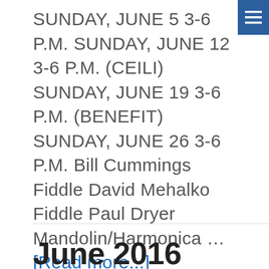SUNDAY, JUNE 5 3-6 P.M. SUNDAY, JUNE 12 3-6 P.M. (CEILI) SUNDAY, JUNE 19 3-6 P.M. (BENEFIT) SUNDAY, JUNE 26 3-6 P.M. Bill Cummings Fiddle David Mehalko Fiddle Paul Dryer Mandolin/Harmonica … [Read more...]
June 2016